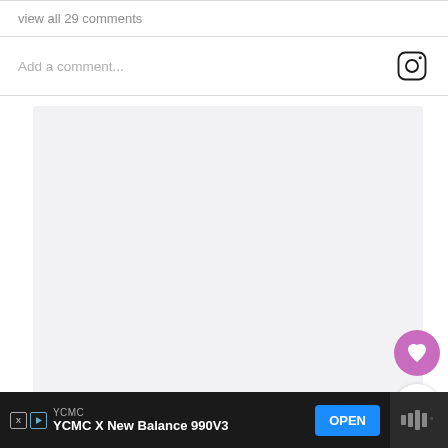view all 29 comments
Add a comment...
[Figure (other): Light gray placeholder content area (blank)]
[Figure (other): Purple circular button with heart icon (favorite/like)]
[Figure (other): White circular button with share icon]
YCMC
YCMC X New Balance 990V3
OPEN